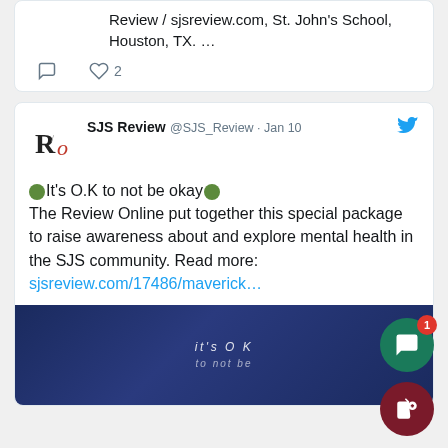Review / sjsreview.com, St. John's School, Houston, TX. …
♡ 2
SJS Review @SJS_Review · Jan 10
🟢It's O.K to not be okay🟢
The Review Online put together this special package to raise awareness about and explore mental health in the SJS community. Read more:
sjsreview.com/17486/maverick…
[Figure (screenshot): Dark blue banner image with text 'it's OK to not be' in white italic letters]